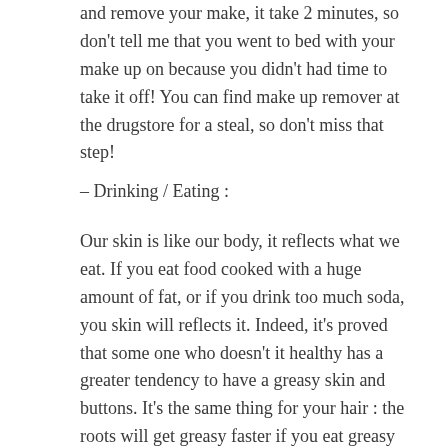and remove your make, it take 2 minutes, so don't tell me that you went to bed with your make up on because you didn't had time to take it off! You can find make up remover at the drugstore for a steal, so don't miss that step!
– Drinking / Eating :
Our skin is like our body, it reflects what we eat. If you eat food cooked with a huge amount of fat, or if you drink too much soda, you skin will reflects it. Indeed, it's proved that some one who doesn't it healthy has a greater tendency to have a greasy skin and buttons. It's the same thing for your hair : the roots will get greasy faster if you eat greasy food. In order to nourish your skin, you have to be cautious about the way you nourish your body. It's normal and human to indulge